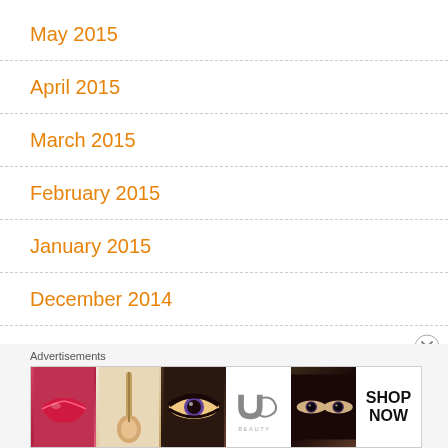May 2015
April 2015
March 2015
February 2015
January 2015
December 2014
November 2014
October 2014
Advertisements
[Figure (other): Ulta Beauty advertisement banner showing beauty product images — red lips with brush, eye makeup, Ulta logo, glamorous eyes, and SHOP NOW call to action]